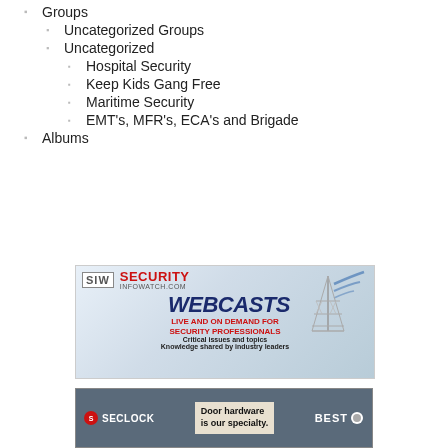Groups
Uncategorized Groups
Uncategorized
Hospital Security
Keep Kids Gang Free
Maritime Security
EMT's, MFR's, ECA's and Brigade
Albums
[Figure (advertisement): Security InfoWatch WEBCASTS advertisement - Live and on demand for security professionals. Critical issues and topics. Knowledge shared by industry leaders.]
[Figure (advertisement): Seclock and BEST door hardware advertisement - Door hardware is our specialty.]